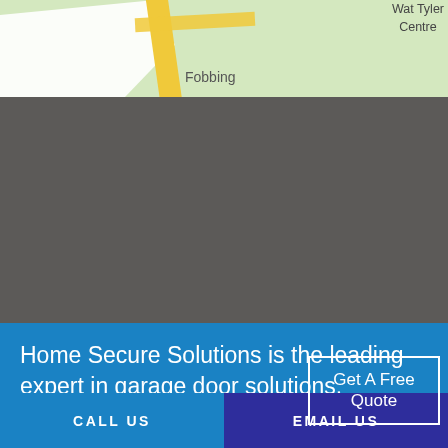[Figure (map): Partial map showing road near Fobbing area with Wat Tyler Centre label visible in upper right]
Home Secure Solutions is the leading expert in garage door solutions.
Get A Free Quote
CALL US
EMAIL US